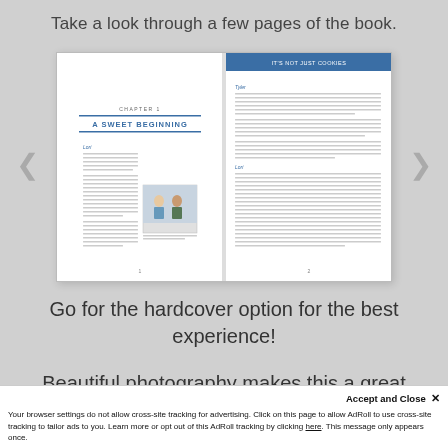Take a look through a few pages of the book.
[Figure (illustration): Book spread preview showing two pages: left page with chapter title 'A SWEET BEGINNING' and text columns with a photo inset, right page with 'IT'S NOT JUST COOKIES' header and text columns]
Go for the hardcover option for the best experience!
Beautiful photography makes this a great coffee table book!
Accept and Close ✕
Your browser settings do not allow cross-site tracking for advertising. Click on this page to allow AdRoll to use cross-site tracking to tailor ads to you. Learn more or opt out of this AdRoll tracking by clicking here. This message only appears once.